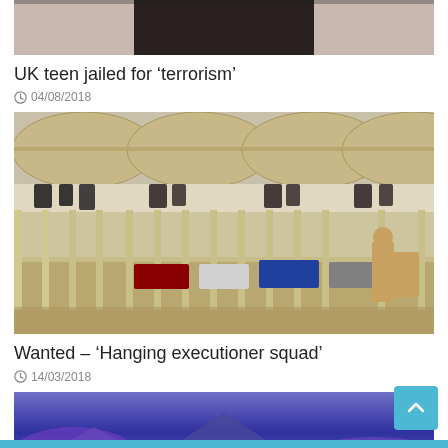[Figure (photo): Partial photo of a person wearing a black top, cropped at the shoulders/chest area]
UK teen jailed for ‘terrorism’
04/08/2018
[Figure (photo): Photo of a checkpoint or border crossing facility with arched canopy structures, vehicles in a parking area, and a uniformed guard standing on the right]
Wanted – ‘Hanging executioner squad’
14/03/2018
[Figure (photo): Partial photo showing a purple and blue background, possibly a stage or banner]